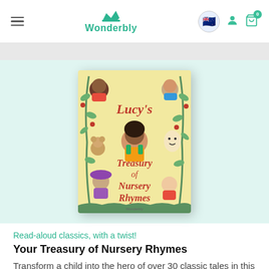Wonderbly
[Figure (illustration): Book cover of 'Lucy's Treasury of Nursery Rhymes' — a colourful illustrated children's book cover with a girl at centre surrounded by nursery rhyme characters on a yellow floral background]
Read-aloud classics, with a twist!
Your Treasury of Nursery Rhymes
Transform a child into the hero of over 30 classic tales in this charming personalised nursery rhyme